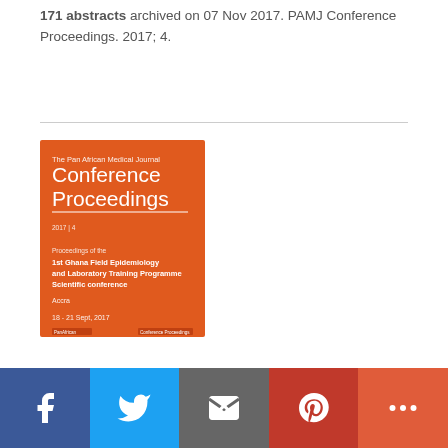171 abstracts archived on 07 Nov 2017. PAMJ Conference Proceedings. 2017; 4.
[Figure (illustration): Book cover for The Pan African Medical Journal Conference Proceedings, orange background, showing proceedings of the 1st Ghana Field Epidemiology and Laboratory Training Programme Scientific conference, Accra, 18-21 Sept, 2017.]
[Figure (infographic): Social sharing bar with Facebook, Twitter, Email, Pinterest, and More buttons]